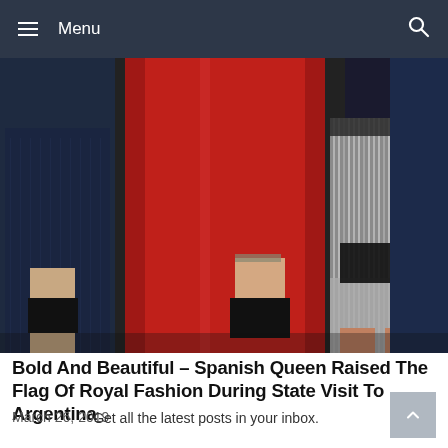Menu
[Figure (photo): Close-up photo of people at a formal event. A woman in a red gown and a woman in a silver sequined dress are visible, flanked by men in dark suits.]
Bold And Beautiful – Spanish Queen Raised The Flag Of Royal Fashion During State Visit To Argentina
March 26, 2019
Get all the latest posts in your inbox.